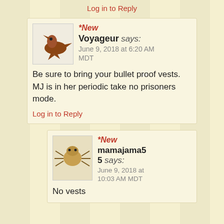Log in to Reply
*New
Voyageur says:
June 9, 2018 at 6:20 AM MDT
Be sure to bring your bullet proof vests. MJ is in her periodic take no prisoners mode.
Log in to Reply
*New
mamajama5 5 says:
June 9, 2018 at 10:03 AM MDT
No vests